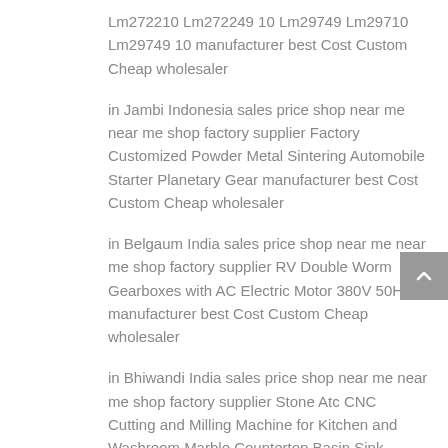Lm272210 Lm272249 10 Lm29749 Lm29710 Lm29749 10 manufacturer best Cost Custom Cheap wholesaler
in Jambi Indonesia sales price shop near me near me shop factory supplier Factory Customized Powder Metal Sintering Automobile Starter Planetary Gear manufacturer best Cost Custom Cheap wholesaler
in Belgaum India sales price shop near me near me shop factory supplier RV Double Worm Gearboxes with AC Electric Motor 380V 50Hz manufacturer best Cost Custom Cheap wholesaler
in Bhiwandi India sales price shop near me near me shop factory supplier Stone Atc CNC Cutting and Milling Machine for Kitchen and Washroom Marble Countertop Basin Sink manufacturer best Cost Custom Cheap wholesaler
in Abu Dhabi United Arab Emirates sales price shop near me near me shop factory supplier Electric Electrical Brushed Brushless DC Motor for Water